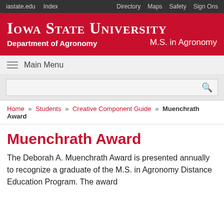iastate.edu  Index  Directory  Maps  Safety  Sign Ons
Iowa State University — Department of Agronomy — M.S. in Agronomy
Main Menu
Home » Students » Creative Component Guide » Muenchrath Award
Muenchrath Award
The Deborah A. Muenchrath Award is presented annually to recognize a graduate of the M.S. in Agronomy Distance Education Program.  The award